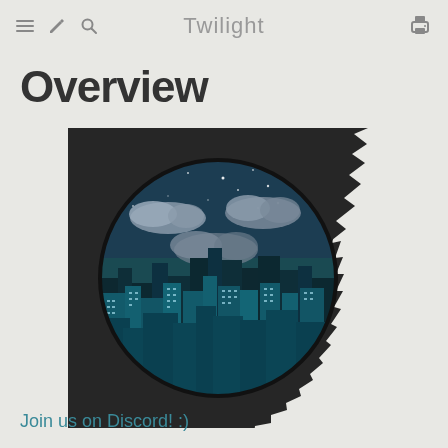Twilight
Overview
[Figure (illustration): A circular badge/gear-shaped icon with a spiky black outer ring, containing a night cityscape scene with dark teal sky, stars, grey clouds, and illuminated city buildings in teal/dark blue tones.]
Join us on Discord! :)